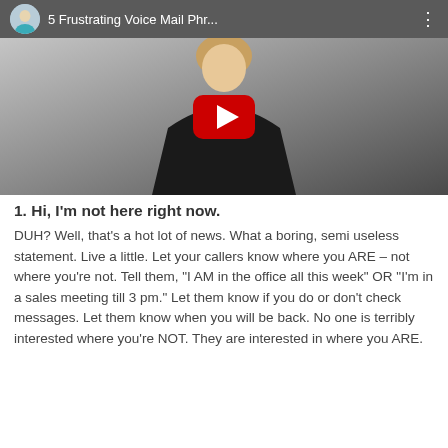[Figure (screenshot): YouTube video thumbnail showing a woman in a black blazer with title '5 Frustrating Voice Mail Phr...' and a red play button overlay]
1. Hi, I'm not here right now.
DUH? Well, that's a hot lot of news. What a boring, semi useless statement. Live a little. Let your callers know where you ARE – not where you're not. Tell them, "I AM in the office all this week" OR "I'm in a sales meeting till 3 pm." Let them know if you do or don't check messages. Let them know when you will be back. No one is terribly interested where you're NOT. They are interested in where you ARE.